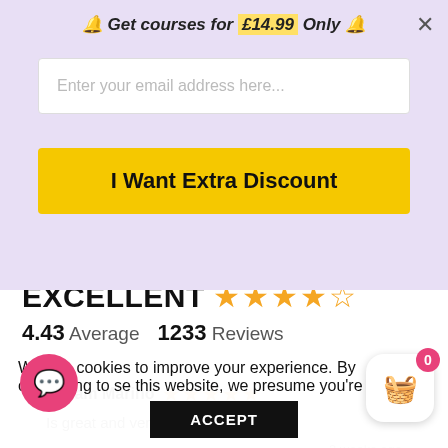🔔 Get courses for £14.99 Only 🔔
[Figure (screenshot): Email input field with placeholder text 'Enter your email address here...']
I Want Extra Discount
EXCELLENT ★★★★☆
4.43 Average   1233 Reviews
Miriam Marino ★★★★★
Is great and very complete😊😊
3 weeks ago
We use cookies to improve your experience. By continuing to use this website, we presume you're okay with it.
ACCEPT